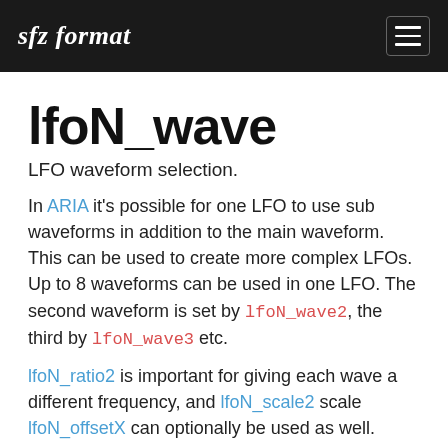sfz format
lfoN_wave
LFO waveform selection.
In ARIA it's possible for one LFO to use sub waveforms in addition to the main waveform. This can be used to create more complex LFOs. Up to 8 waveforms can be used in one LFO. The second waveform is set by lfoN_wave2, the third by lfoN_wave3 etc.
lfoN_ratio2 is important for giving each wave a different frequency, and lfoN_scale2 scale lfoN_offsetX can optionally be used as well.
In SFZ v2, the waves are: